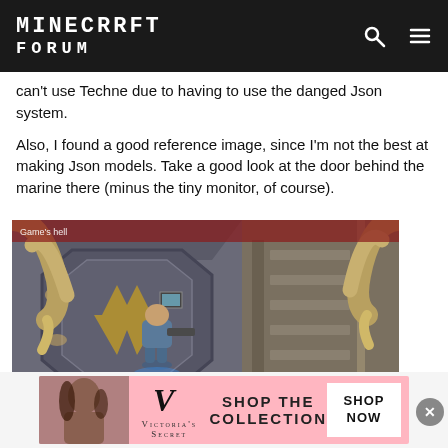MINECRAFT FORUM
can't use Techne due to having to use the danged Json system.

Also, I found a good reference image, since I'm not the best at making Json models. Take a good look at the door behind the marine there (minus the tiny monitor, of course).
[Figure (screenshot): Screenshot from Alien game showing a marine character crouching in a sci-fi corridor with a Weyland-Yutani logo on the wall, with alien claws visible in the foreground. Date watermark: September 23.]
[Figure (other): Victoria's Secret advertisement banner: 'SHOP THE COLLECTION' with SHOP NOW button]